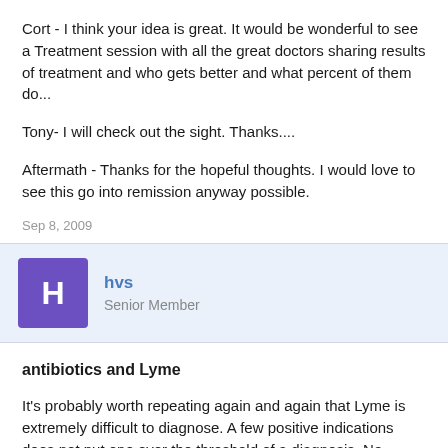Cort - I think your idea is great. It would be wonderful to see a Treatment session with all the great doctors sharing results of treatment and who gets better and what percent of them do...
Tony- I will check out the sight. Thanks....
Aftermath - Thanks for the hopeful thoughts. I would love to see this go into remission anyway possible.
Sep 8, 2009
hvs
Senior Member
antibiotics and Lyme
It's probably worth repeating again and again that Lyme is extremely difficult to diagnose. A few positive indications does not put one over the threshold of a diagnosis. No matter